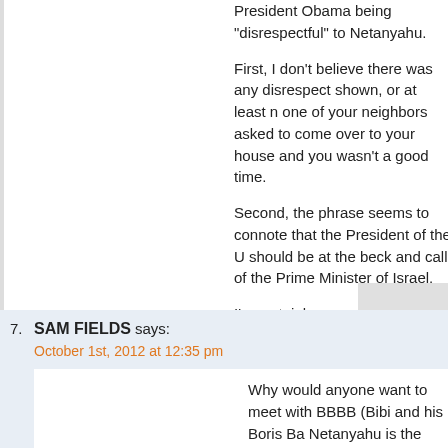President Obama being "disrespectful" to Netanyahu.
First, I don't believe there was any disrespect shown, or at least n one of your neighbors asked to come over to your house and you wasn't a good time.
Second, the phrase seems to connote that the President of the U should be at the beck and call of the Prime Minister of Israel.
I'm certainly committed to the right of Israel to exist as an indepen I'm not interested in getting dragged into a war on Netanyahu's sa
In the end, this ad is just a cynical ploy by the neo-cons supportin campaign who hope to reinstitute a policy of belligerence in the M
7. SAM FIELDS says: October 1st, 2012 at 12:35 pm
Why would anyone want to meet with BBBB (Bibi and his Boris Ba Netanyahu is the one who has attempted to embarrass the Prez s announcing 1600 new illegal homes in Jerusalem on the day the shows up.
As for his threat to attack Iran it's bullshit.
The reason that I doubt this is true is that it is pretty clear that the the IDF, Shin Bet and Mossad are all sending a message that an will attempt to be one of the consequences of the use of M military